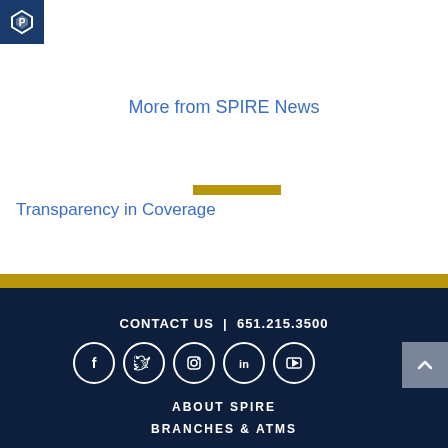[Figure (logo): SPIRE Credit Union logo - white diamond/shield icon on dark blue square background]
More from SPIRE News
Transparency in Coverage
CONTACT US  |  651.215.3500
[Figure (infographic): Social media icons row: Facebook, Twitter, Instagram, LinkedIn, YouTube — white icons in white circle outlines on dark navy background]
ABOUT SPIRE
BRANCHES & ATMS